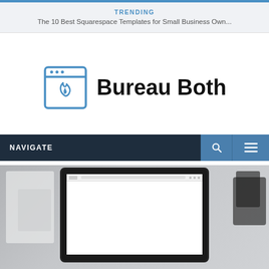TRENDING
The 10 Best Squarespace Templates for Small Business Own...
[Figure (logo): Bureau Both logo: browser window icon with flame/droplet symbol in blue outline, followed by bold text 'Bureau Both']
NAVIGATE
[Figure (screenshot): Screenshot of a website displayed on a laptop/monitor showing a gallery of colorful stone/mineral images on a dark background, partially visible]